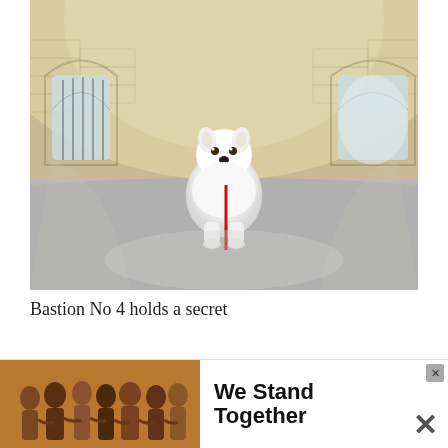[Figure (photo): A white fluffy Samoyed dog with a red leash sitting in the center of a large stone domed interior chamber (Bastion No 4), with arched windows letting in light on either side, sandy stone block walls curving overhead, and a concrete floor.]
Bastion No 4 holds a secret
Though the French heavily bombed Fort Lifdot with their te... ides will
[Figure (photo): Advertisement banner: group of diverse young people with arms around each other seen from behind, with text 'We Stand Together' in bold and an X close button.]